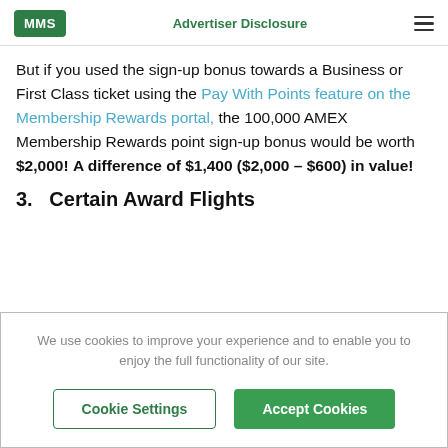MMS | Advertiser Disclosure
But if you used the sign-up bonus towards a Business or First Class ticket using the Pay With Points feature on the Membership Rewards portal, the 100,000 AMEX Membership Rewards point sign-up bonus would be worth $2,000!  A difference of $1,400 ($2,000 – $600) in value!
3.  Certain Award Flights
We use cookies to improve your experience and to enable you to enjoy the full functionality of our site.
Cookie Settings | Accept Cookies